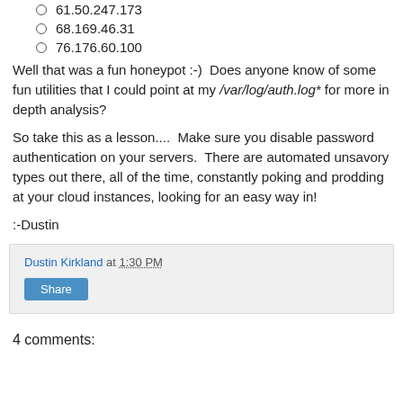61.50.247.173
68.169.46.31
76.176.60.100
Well that was a fun honeypot :-)  Does anyone know of some fun utilities that I could point at my /var/log/auth.log* for more in depth analysis?
So take this as a lesson....  Make sure you disable password authentication on your servers.  There are automated unsavory types out there, all of the time, constantly poking and prodding at your cloud instances, looking for an easy way in!
:-Dustin
Dustin Kirkland at 1:30 PM
Share
4 comments: